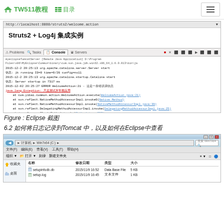TW511教程  目录  ≡
[Figure (screenshot): Browser content area showing title 'Struts2 + Log4j 集成实例' followed by Eclipse console output showing Java stack trace error]
Figure : Eclipse 截图
6.2 如何将日志记录到Tomcat 中，以及如何在Eclipse中查看
[Figure (screenshot): Windows Explorer window showing Win7x64 (C:) directory with files setupinfodb.db and setup.log listed with dates, types and sizes]